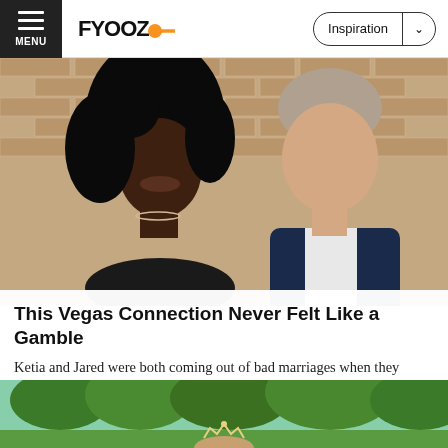FYOOZ — Inspiration
[Figure (photo): A couple posing in front of a brick wall. A Black woman with long curly hair on the left, and a white man in a dark blazer and white shirt on the right, both smiling.]
This Vegas Connection Never Felt Like a Gamble
Ketia and Jared were both coming out of bad marriages when they mustered the courage to post profiles on our site. They found each other in their first week of membership!
[Figure (photo): Outdoor park scene with green trees. A person wearing a tiara or crown visible at the bottom of the frame.]